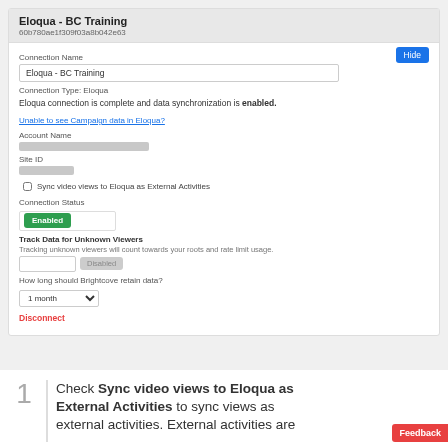[Figure (screenshot): Eloqua BC Training connection settings panel showing Connection Name field with 'Eloqua - BC Training', Connection Type: Eloqua, status message 'Eloqua connection is complete and data synchronization is enabled.', a link 'Unable to see Campaign data in Eloqua?', Account Name redacted field, Site ID redacted field, checkbox 'Sync video views to Eloqua as External Activities', Connection Status with Enabled green button, Track Data for Unknown Viewers section, How long should Brightcove retain data? dropdown showing '1 month', and a red Disconnect link. A blue Hide button is in the top right.]
Check Sync video views to Eloqua as External Activities to sync views as external activities. External activities are